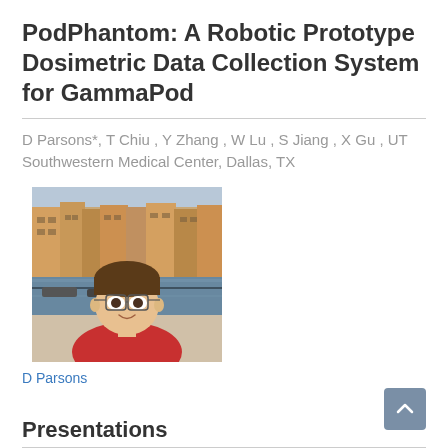PodPhantom: A Robotic Prototype Dosimetric Data Collection System for GammaPod
D Parsons*, T Chiu , Y Zhang , W Lu , S Jiang , X Gu , UT Southwestern Medical Center, Dallas, TX
[Figure (photo): Headshot photo of D Parsons, a man with glasses wearing a red shirt, standing in front of a canal with buildings in the background.]
D Parsons
Presentations